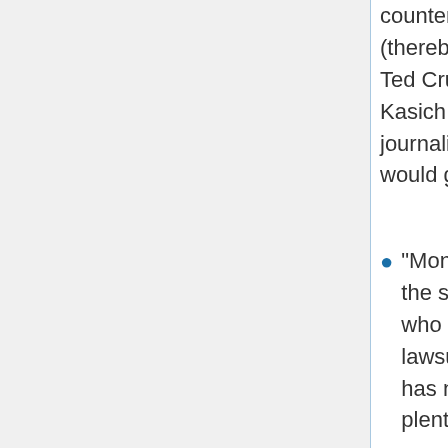countered unpixelated versions of the film (thereby exposing Katie Johnson's face) to Ted Cruz, Charles Koch, Paul Ryan, John Kasich, and other conservatives and journalists, in the hope that the allegations would gain national attention."
"Money is a complicating factor behind the scenes of Johnson's case. Johnson, who attempted to file her California lawsuit as an indigent plaintiff, seemingly has none. Meanwhile Baer seems to have plenty. Besides the $19,000